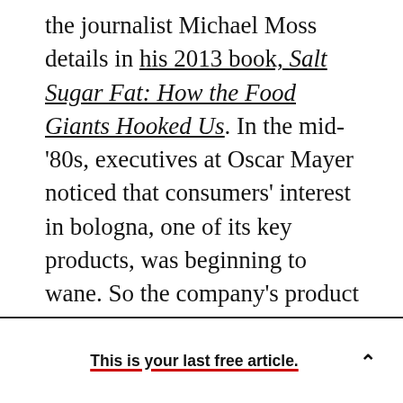the journalist Michael Moss details in his 2013 book, Salt Sugar Fat: How the Food Giants Hooked Us. In the mid-'80s, executives at Oscar Mayer noticed that consumers' interest in bologna, one of its key products, was beginning to wane. So the company's product developers set out to find a way to get people interested in bologna again, to dream up something that was livelier than sliced, sandwich-ready meat sealed in plastic.

After brainstorms and focus groups, a team of about 15 people conceived a bologna-centric lunch product that was portable and—because people
This is your last free article.